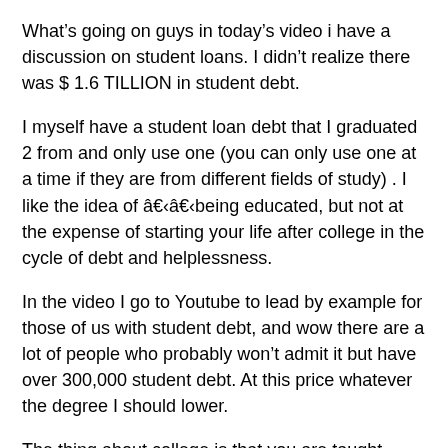What’s going on guys in today’s video i have a discussion on student loans. I didn’t realize there was $ 1.6 TILLION in student debt.
I myself have a student loan debt that I graduated 2 from and only use one (you can only use one at a time if they are from different fields of study) . I like the idea of â€‹â€‹being educated, but not at the expense of starting your life after college in the cycle of debt and helplessness.
In the video I go to Youtube to lead by example for those of us with student debt, and wow there are a lot of people who probably won’t admit it but have over 300,000 student debt. At this price whatever the degree I should lower.
The thing about college is that you are taught almost all the skills you will need to be successful except your own finances. Even if you get an accounting degree, no knowledge is given on